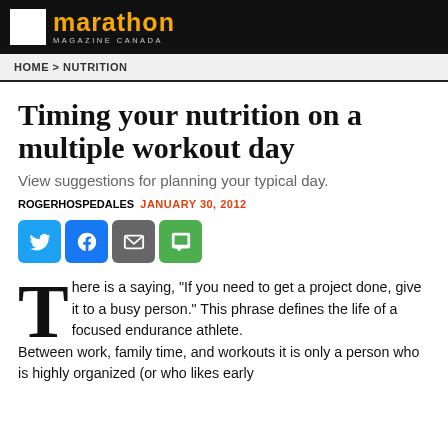marathon MAGAZINE CANADA
HOME > NUTRITION
Timing your nutrition on a multiple workout day
View suggestions for planning your typical day.
ROGERHOSPEDALES  JANUARY 30, 2012
[Figure (infographic): Social sharing buttons: Twitter (blue bird), Facebook (blue f), Email (grey envelope), SMS (green message bubble)]
There is a saying, “If you need to get a project done, give it to a busy person.” This phrase defines the life of a focused endurance athlete. Between work, family time, and workouts it is only a person who is highly organized (or who likes early